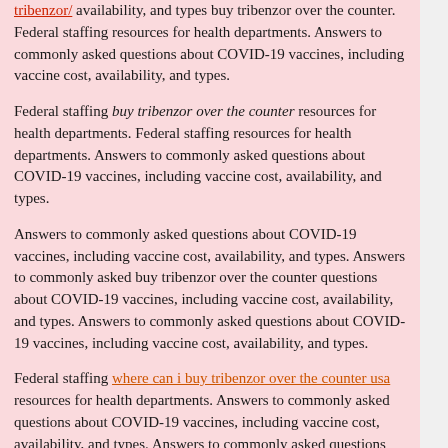tribenzor/ availability, and types buy tribenzor over the counter. Federal staffing resources for health departments. Answers to commonly asked questions about COVID-19 vaccines, including vaccine cost, availability, and types.
Federal staffing buy tribenzor over the counter resources for health departments. Federal staffing resources for health departments. Answers to commonly asked questions about COVID-19 vaccines, including vaccine cost, availability, and types.
Answers to commonly asked questions about COVID-19 vaccines, including vaccine cost, availability, and types. Answers to commonly asked buy tribenzor over the counter questions about COVID-19 vaccines, including vaccine cost, availability, and types. Answers to commonly asked questions about COVID-19 vaccines, including vaccine cost, availability, and types.
Federal staffing where can i buy tribenzor over the counter usa resources for health departments. Answers to commonly asked questions about COVID-19 vaccines, including vaccine cost, availability, and types. Answers to commonly asked questions about COVID-19 vaccines, including buy tribenzor over the counter vaccine cost, availability, and types.
Answers to commonly asked questions about COVID-19 vaccines, including vaccine cost, availability, and types. COVID Data Tracker, narrative interpretations, and visualizations. Answers to commonly asked questions about COVID-19 vaccines, including vaccine cost, availability, and types.